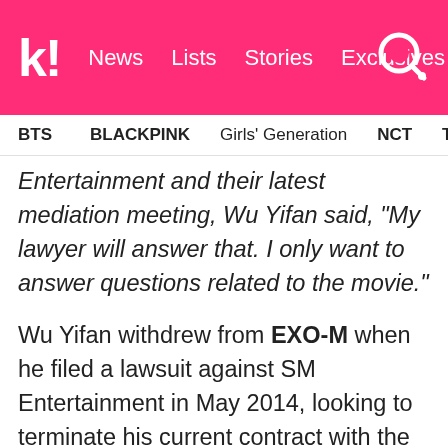k! News Lists Stories Exclusives
BTS BLACKPINK Girls' Generation NCT TWICE aespa
Entertainment and their latest mediation meeting, Wu Yifan said, “My lawyer will answer that. I only want to answer questions related to the movie.”
Wu Yifan withdrew from EXO-M when he filed a lawsuit against SM Entertainment in May 2014, looking to terminate his current contract with the agency. Since then, he has been following his own solo activities in China through various film related activities and OST tracks. In regards to the lawsuit, the latest court appointed meetings between the two parties’ lawyers continue to fall through as neither side could